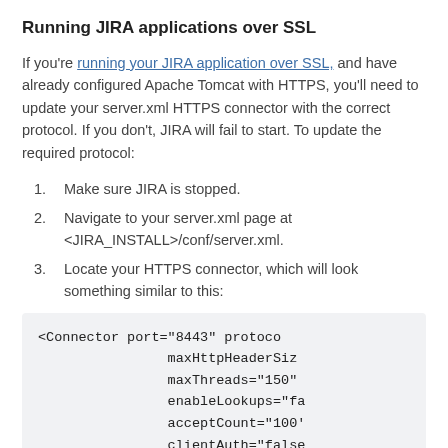Running JIRA applications over SSL
If you're running your JIRA application over SSL, and have already configured Apache Tomcat with HTTPS, you'll need to update your server.xml HTTPS connector with the correct protocol. If you don't, JIRA will fail to start. To update the required protocol:
Make sure JIRA is stopped.
Navigate to your server.xml page at <JIRA_INSTALL>/conf/server.xml.
Locate your HTTPS connector, which will look something similar to this:
[Figure (screenshot): Code block showing XML configuration: <Connector port="8443" protocol= maxHttpHeaderSize= maxThreads="150" enableLookups="fa acceptCount="100' clientAuth="false]